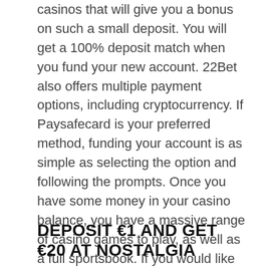casinos that will give you a bonus on such a small deposit. You will get a 100% deposit match when you fund your new account. 22Bet also offers multiple payment options, including cryptocurrency. If Paysafecard is your preferred method, funding your account is as simple as selecting the option and following the prompts. Once you have some money in your casino balance, you have a massive range of casino games to play, as well as a full sportsbook. If you would like to know more about our recommended €1 minimum deposit casino, have a look at our 22Bet review.
DEPOSIT €1 AND GET €20 AT NOSTALGIA